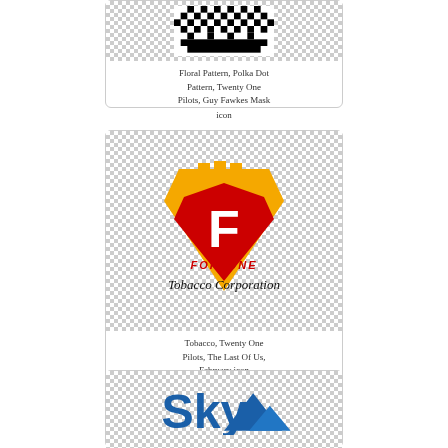[Figure (logo): Pixelated black and white pattern resembling a Guy Fawkes Mask / floral polka dot pattern]
Floral Pattern, Polka Dot Pattern, Twenty One Pilots, Guy Fawkes Mask icon
[Figure (logo): Fortune Tobacco Corporation logo — gold crown shield with red background and white F, red FORTUNE text, and black script Tobacco Corporation]
Tobacco, Twenty One Pilots, The Last Of Us, February icon
[Figure (logo): Sky logo — partially visible, blue text Sky with blue triangle/mountain shape]